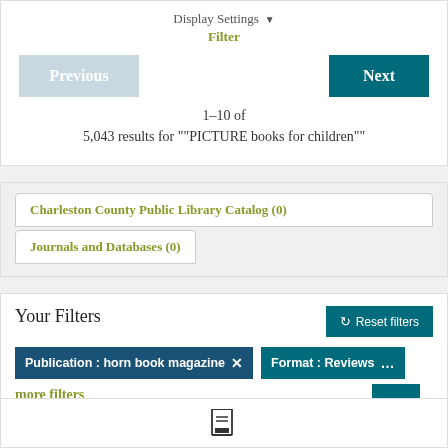Display Settings ▾
Filter
Previous
Next
1–10 of 5,043 results for ""PICTURE books for children""
Charleston County Public Library Catalog (0)
Journals and Databases (0)
Your Filters
Reset filters
Publication : horn book magazine ✕
Format : Reviews ...
more filters